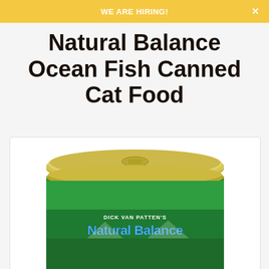WE ARE HIRING!
Natural Balance Ocean Fish Canned Cat Food
[Figure (photo): Natural Balance Ocean Fish Canned Cat Food product photo showing the top and upper portion of a green can with gold lid, labeled with 'Dick Van Patten's Natural Balance' branding in blue and white text on a green background.]